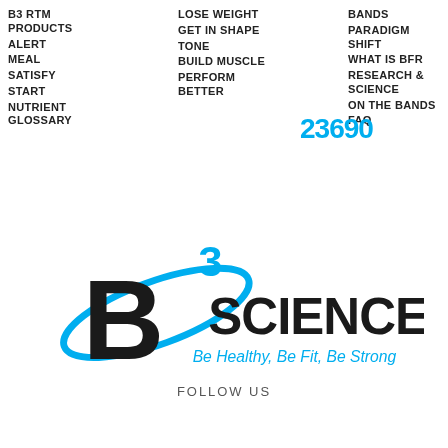B3 RTM PRODUCTS
ALERT
MEAL
SATISFY
START
NUTRIENT GLOSSARY
LOSE WEIGHT
GET IN SHAPE
TONE
BUILD MUSCLE
PERFORM BETTER
BANDS
PARADIGM SHIFT
WHAT IS BFR
23690
RESEARCH & SCIENCE
ON THE BANDS
FAQ
[Figure (logo): B3 Sciences logo with large B, superscript 3 in cyan, SCIENCES text, and tagline Be Healthy, Be Fit, Be Strong in cyan]
FOLLOW US
[Figure (illustration): Social media icons: Facebook, Twitter, Instagram, YouTube in cyan]